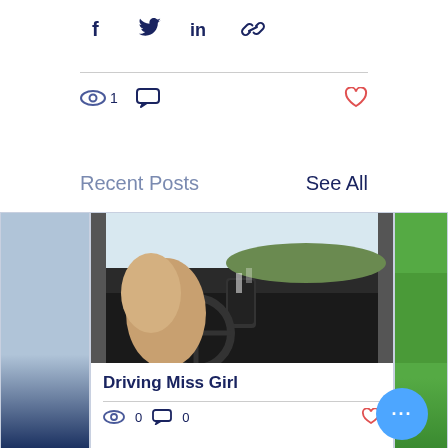[Figure (screenshot): Social media share buttons: Facebook (f), Twitter (bird), LinkedIn (in), and link/chain icon in dark navy blue]
[Figure (screenshot): Stats row: eye icon with count 1, comment bubble icon, and heart icon on the right (red/coral)]
Recent Posts
See All
[Figure (photo): Partial left card showing a person in blue/dark clothing]
[Figure (photo): Center card with photo of woman driving a car, phone mounted on dashboard, highway ahead]
Driving Miss Girl
[Figure (screenshot): Stats row bottom: eye icon with 0, comment bubble with 0, heart icon (red)]
[Figure (screenshot): Partial right card showing green grass/lawn]
[Figure (screenshot): Blue circular FAB button with three white dots (ellipsis)]